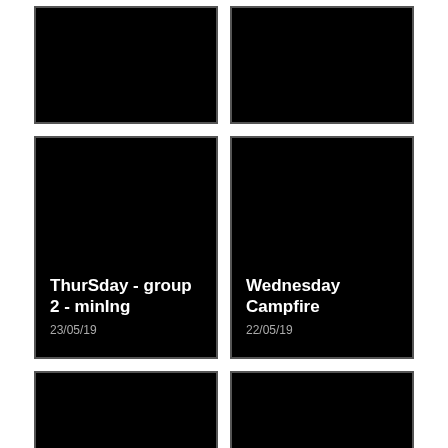[Figure (photo): Black image card, top-left, partially cropped at top]
[Figure (photo): Black image card, top-right, partially cropped at top]
[Figure (photo): Black image card with title 'ThurSday - group 2 - minIng' dated 23/05/19]
[Figure (photo): Black image card with title 'Wednesday Campfire' dated 22/05/19]
[Figure (photo): Black image card with title 'Wednesday - Group 1 - Mining' dated 22/05/19]
[Figure (photo): Black image card with title 'Wednesday - Group 4 - Adventure trek' dated 22/05/19]